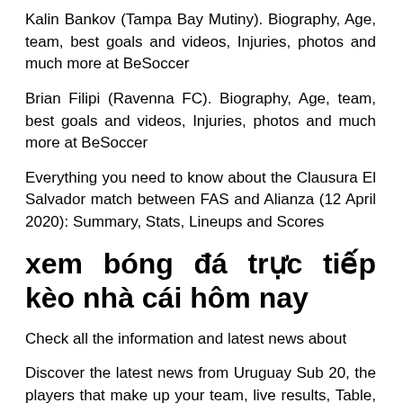Kalin Bankov (Tampa Bay Mutiny). Biography, Age, team, best goals and videos, Injuries, photos and much more at BeSoccer
Brian Filipi (Ravenna FC). Biography, Age, team, best goals and videos, Injuries, photos and much more at BeSoccer
Everything you need to know about the Clausura El Salvador match between FAS and Alianza (12 April 2020): Summary, Stats, Lineups and Scores
xem bóng đá trực tiếp kèo nhà cái hôm nay
Check all the information and latest news about
Discover the latest news from Uruguay Sub 20, the players that make up your team, live results, Table, Stats , transfers, photos and much more at BeSoccer
Everything you need to know about the Clausura Guatemala match between Comunicaciones and Suchitepequez (13